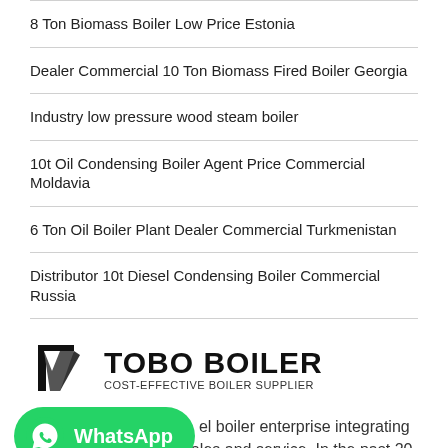8 Ton Biomass Boiler Low Price Estonia
Dealer Commercial 10 Ton Biomass Fired Boiler Georgia
Industry low pressure wood steam boiler
10t Oil Condensing Boiler Agent Price Commercial Moldavia
6 Ton Oil Boiler Plant Dealer Commercial Turkmenistan
Distributor 10t Diesel Condensing Boiler Commercial Russia
[Figure (logo): TOBO BOILER logo with stylized icon and text 'TOBO BOILER' in bold, subtitle 'COST-EFFECTIVE BOILER SUPPLIER']
[Figure (logo): WhatsApp button in green with phone icon and 'WhatsApp' label]
el boiler enterprise integrating R&D, manufacturing, sales and service. In the past 20 years of development and innovation, the company has grown into a global enterprise, and its products